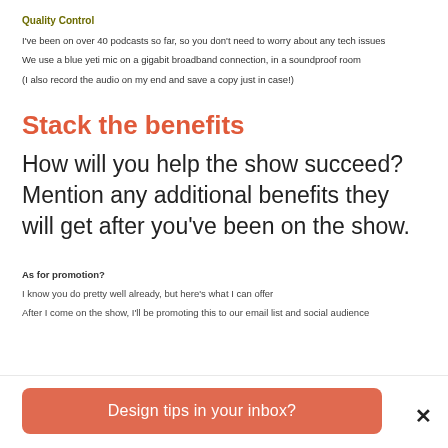Quality Control
I've been on over 40 podcasts so far, so you don't need to worry about any tech issues
We use a blue yeti mic on a gigabit broadband connection, in a soundproof room
(I also record the audio on my end and save a copy just in case!)
Stack the benefits
How will you help the show succeed? Mention any additional benefits they will get after you've been on the show.
As for promotion?
I know you do pretty well already, but here's what I can offer
After I come on the show, I'll be promoting this to our email list and social audience
Design tips in your inbox?